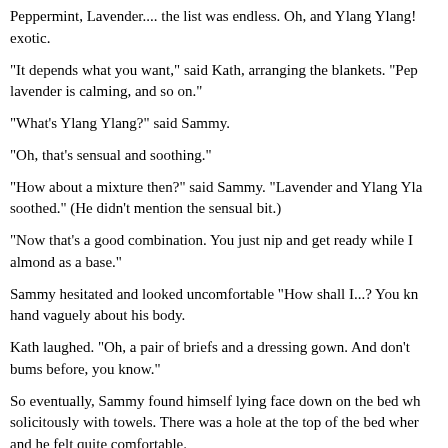Peppermint, Lavender.... the list was endless. Oh, and Ylang Ylang! exotic.
“It depends what you want,” said Kath, arranging the blankets. “Pep lavender is calming, and so on.”
“What’s Ylang Ylang?” said Sammy.
“Oh, that’s sensual and soothing.”
“How about a mixture then?” said Sammy. “Lavender and Ylang Yla soothed.” (He didn’t mention the sensual bit.)
“Now that’s a good combination. You just nip and get ready while I almond as a base.”
Sammy hesitated and looked uncomfortable “How shall I...? You kn hand vaguely about his body.
Kath laughed. “Oh, a pair of briefs and a dressing gown. And don’t bums before, you know.”
So eventually, Sammy found himself lying face down on the bed wh solicitously with towels. There was a hole at the top of the bed wher and he felt quite comfortable.